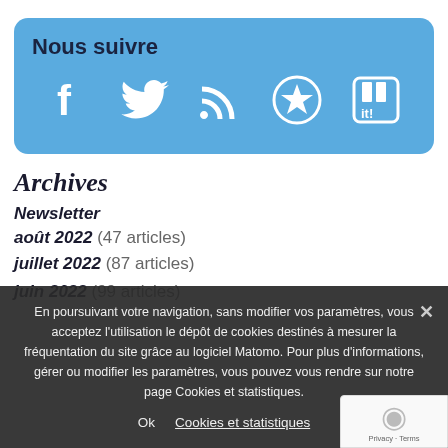[Figure (infographic): Blue rounded box with title 'Nous suivre' and five social media icons: Facebook, Twitter, RSS feed, Star/Favorites, and a share/bookmark icon (it!). White icons on blue background.]
Archives
Newsletter
août 2022 (47 articles)
juillet 2022 (87 articles)
juin 2022 (99 articles)
En poursuivant votre navigation, sans modifier vos paramètres, vous acceptez l'utilisation le dépôt de cookies destinés à mesurer la fréquentation du site grâce au logiciel Matomo. Pour plus d'informations, gérer ou modifier les paramètres, vous pouvez vous rendre sur notre page Cookies et statistiques.
Ok   Cookies et statistiques